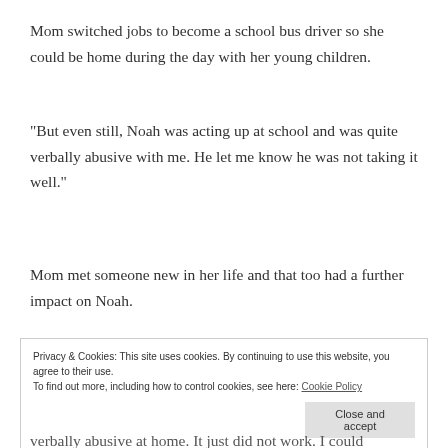Mom switched jobs to become a school bus driver so she could be home during the day with her young children.
“But even still, Noah was acting up at school and was quite verbally abusive with me. He let me know he was not taking it well.”
Mom met someone new in her life and that too had a further impact on Noah.
Privacy & Cookies: This site uses cookies. By continuing to use this website, you agree to their use.
To find out more, including how to control cookies, see here: Cookie Policy
verbally abusive at home. It just did not work. I could